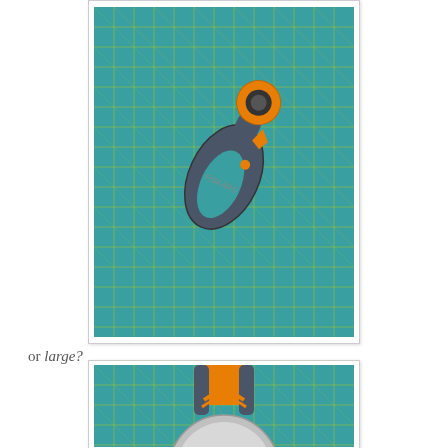[Figure (photo): A Fiskars rotary cutter with dark gray handle and orange accents, placed on a teal/green cutting mat with yellow grid lines. The cutter has a circular blade guard at the top and an ergonomic loop handle.]
or large?
[Figure (photo): Close-up of a large rotary cutter showing the silver blade wheel and orange and gray handle, on a teal cutting mat with yellow grid lines. Only the lower portion of the tool is visible.]